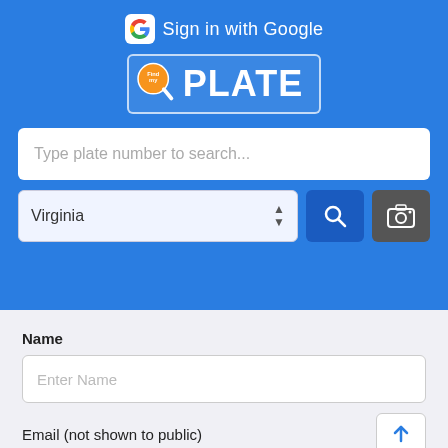[Figure (screenshot): Sign in with Google button with Google 'G' logo icon and white text on blue background]
[Figure (logo): FindMyPlate logo: orange circular magnifying glass icon with 'Find' text, followed by 'PLATE' in white bold letters, inside a rounded rectangle border on blue background]
Type plate number to search...
Virginia
[Figure (illustration): Blue search button with white magnifying glass icon]
[Figure (illustration): Dark grey camera button with white camera icon]
Name
Enter Name
Email (not shown to public)
[Figure (illustration): Upload/arrow up button in white box with blue arrow icon]
Enter Email
Flag as